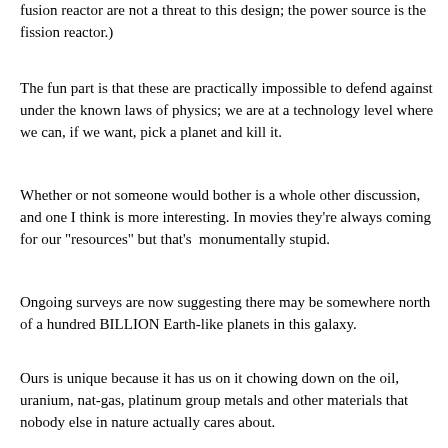fusion reactor are not a threat to this design; the power source is the fission reactor.)
The fun part is that these are practically impossible to defend against under the known laws of physics; we are at a technology level where we can, if we want, pick a planet and kill it.
Whether or not someone would bother is a whole other discussion, and one I think is more interesting. In movies they're always coming for our "resources" but that's  monumentally stupid.
Ongoing surveys are now suggesting there may be somewhere north of a hundred BILLION Earth-like planets in this galaxy.
Ours is unique because it has us on it chowing down on the oil, uranium, nat-gas, platinum group metals and other materials that nobody else in nature actually cares about.